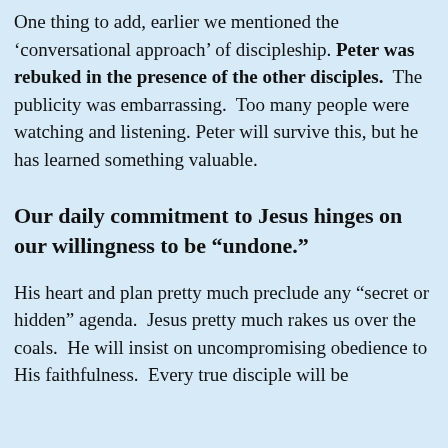One thing to add, earlier we mentioned the ‘conversational approach’ of discipleship. Peter was rebuked in the presence of the other disciples.  The publicity was embarrassing.  Too many people were watching and listening. Peter will survive this, but he has learned something valuable.
Our daily commitment to Jesus hinges on our willingness to be “undone.”
His heart and plan pretty much preclude any “secret or hidden” agenda.  Jesus pretty much rakes us over the coals.  He will insist on uncompromising obedience to His faithfulness.  Every true disciple will be